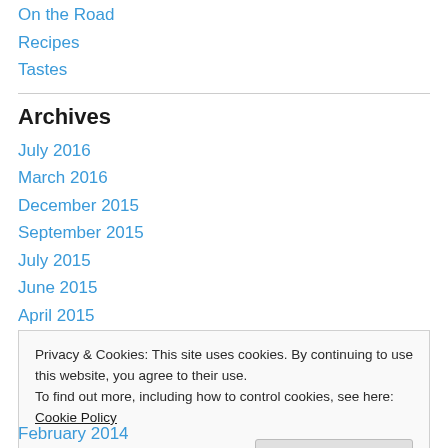On the Road
Recipes
Tastes
Archives
July 2016
March 2016
December 2015
September 2015
July 2015
June 2015
April 2015
Privacy & Cookies: This site uses cookies. By continuing to use this website, you agree to their use.
To find out more, including how to control cookies, see here: Cookie Policy
February 2014